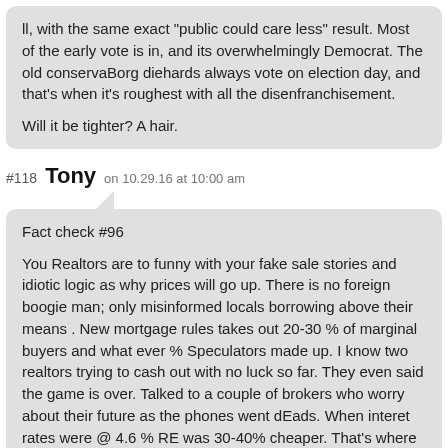ll, with the same exact "public could care less" result. Most of the early vote is in, and its overwhelmingly Democrat. The old conservaBorg diehards always vote on election day, and that's when it's roughest with all the disenfranchisement.

Will it be tighter? A hair.
#118 Tony on 10.29.16 at 10:00 am
Fact check #96

You Realtors are to funny with your fake sale stories and idiotic logic as why prices will go up. There is no foreign boogie man; only misinformed locals borrowing above their means . New mortgage rules takes out 20-30 % of marginal buyers and what ever % Speculators made up. I know two realtors trying to cash out with no luck so far. They even said the game is over. Talked to a couple of brokers who worry about their future as the phones went dEads. When interet rates were @ 4.6 % RE was 30-40% cheaper. That's where we are going. Lots of Speculators are really screwed. Maybe that's you?